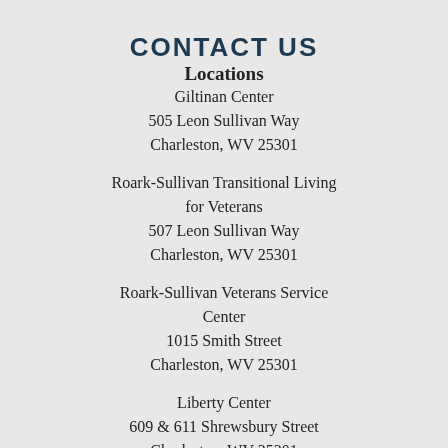CONTACT US
Locations
Giltinan Center
505 Leon Sullivan Way
Charleston, WV 25301
Roark-Sullivan Transitional Living for Veterans
507 Leon Sullivan Way
Charleston, WV 25301
Roark-Sullivan Veterans Service Center
1015 Smith Street
Charleston, WV 25301
Liberty Center
609 & 611 Shrewsbury Street
Charleston, WV 25301